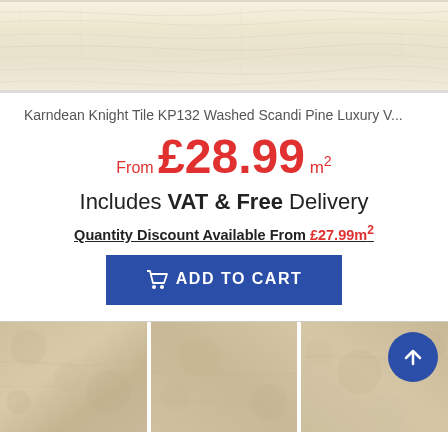[Figure (photo): Top portion of a light-colored wood grain flooring sample image, showing pale cream/white wood texture with grain lines.]
Karndean Knight Tile KP132 Washed Scandi Pine Luxury V...
From £28.99 m²
Includes VAT & Free Delivery
Quantity Discount Available From £27.99m²
ADD TO CART
[Figure (photo): Bottom portion showing three panels of a beige/cream stone-effect luxury vinyl tile flooring sample, with a blue circular scroll-to-top arrow button overlaid on the right panel.]